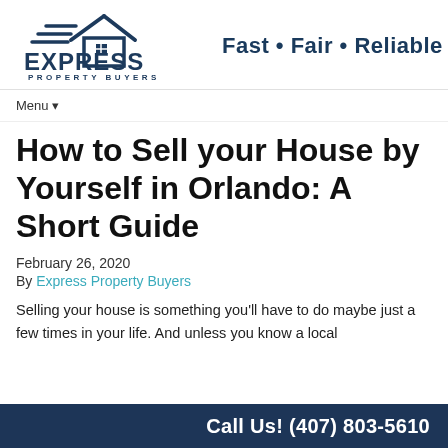[Figure (logo): Express Property Buyers logo with house icon and 'EXPRESS PROPERTY BUYERS' text in dark navy blue]
Fast • Fair • Reliable
Menu ▾
How to Sell your House by Yourself in Orlando: A Short Guide
February 26, 2020
By Express Property Buyers
Selling your house is something you'll have to do maybe just a few times in your life.  And unless you know a local
Call Us! (407) 803-5610